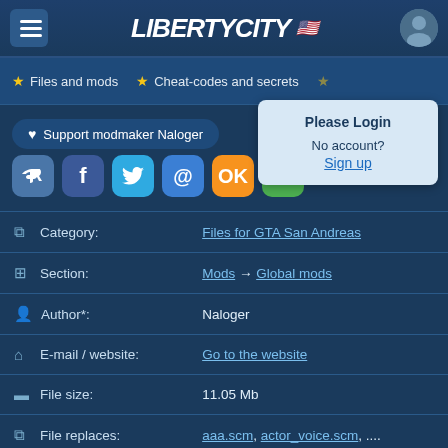LibertyCity
Files and mods  Cheat-codes and secrets
Please Login
No account? Sign up
Support modmaker Naloger
| Field | Value |
| --- | --- |
| Category: | Files for GTA San Andreas |
| Section: | Mods → Global mods |
| Author*: | Naloger |
| E-mail / website: | Go to the website |
| File size: | 11.05 Mb |
| File replaces: | aaa.scm, actor_voice.scm, .... |
| Upload date: | 2 August 2022 |